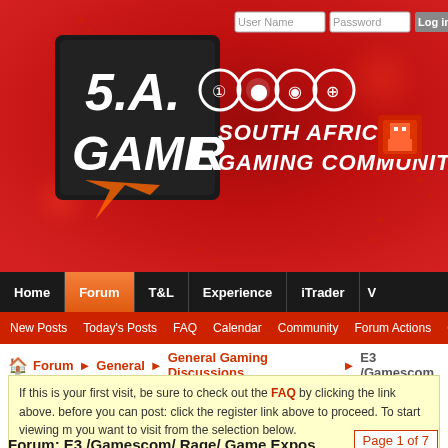[Figure (screenshot): South African Gamer website header with red background, S.A. Gamer logo, icon circles, and site title text]
User Name | Password | Log in | Remember
Home | Forum | T&L | Experience | iTrader
New Posts | Today's Posts | FAQ | Calendar | Community | Forum Actions | Quick
Forum ❱ General ❱ General Gaming Discussions ❱ E3 /Gamescom
If this is your first visit, be sure to check out the FAQ by clicking the link above. before you can post: click the register link above to proceed. To start viewing m you want to visit from the selection below.
Page 1 of 7
Forum: E3 /Gamescom/ Rage/ Game Expos
General gaming expo thread.